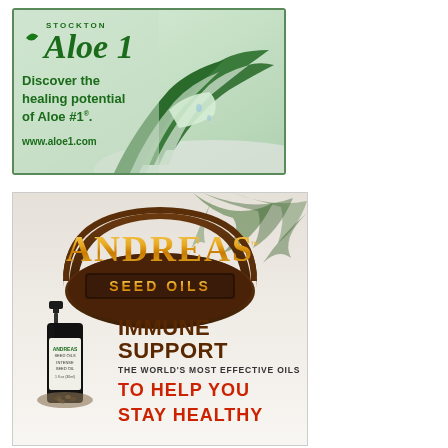[Figure (advertisement): Stockton Aloe 1 advertisement with aloe vera plant image. Text reads: 'STOCKTON Aloe 1 - Discover the healing potential of Aloe #1®. www.aloe1.com']
[Figure (advertisement): Andreas Seed Oils advertisement with dark bottle dropper product image and palm leaf background. Text reads: 'ANDREAS SEED OILS - IMMUNE SUPPORT - THE WORLD'S MOST EFFECTIVE OILS - TO HELP YOU STAY HEALTHY']